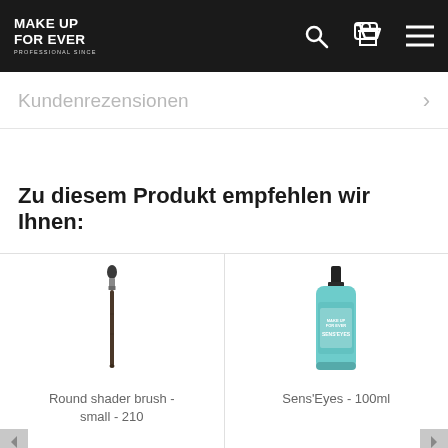MAKE UP FOR EVER PROFESSIONAL SINCE
Kundenrezensionen
Zu diesem Produkt empfehlen wir Ihnen:
[Figure (photo): Round shader brush - small - 210 makeup brush with dark bristles and wooden handle]
Round shader brush - small - 210
[Figure (photo): Sens'Eyes - 100ml teal/turquoise bottle with black pump cap, Make Up For Ever brand]
Sens'Eyes - 100ml